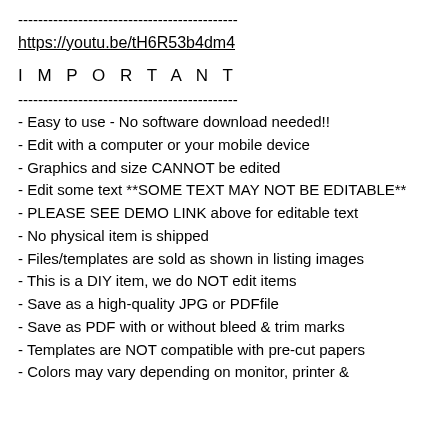--------------------------------------------
https://youtu.be/tH6R53b4dm4
I M P O R T A N T
--------------------------------------------
- Easy to use - No software download needed!!
- Edit with a computer or your mobile device
- Graphics and size CANNOT be edited
- Edit some text **SOME TEXT MAY NOT BE EDITABLE**
- PLEASE SEE DEMO LINK above for editable text
- No physical item is shipped
- Files/templates are sold as shown in listing images
- This is a DIY item, we do NOT edit items
- Save as a high-quality JPG or PDFfile
- Save as PDF with or without bleed & trim marks
- Templates are NOT compatible with pre-cut papers
- Colors may vary depending on monitor, printer &